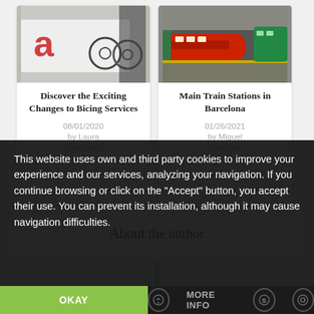[Figure (photo): Photo of bicycles and a white truck/vehicle with a red logo]
Discover the Exciting Changes to Bicing Services
08/01/2020
by Laura
4 min read
[Figure (photo): Photo of high-speed trains at a train station]
Main Train Stations in Barcelona
01/26/2021
by Miguel
4 min read
About the author
This website uses own and third party cookies to improve your experience and our services, analyzing your navigation. If you continue browsing or click on the "Accept" button, you accept their use. You can prevent its installation, although it may cause navigation difficulties.